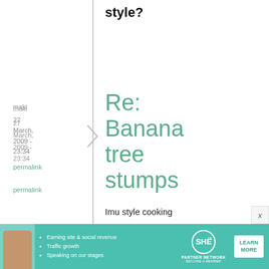style?
maki
27 March, 2009 - 23:34
permalink
Re: Banana tree stumps
Imu style cooking is a Hawai'ian or Polynesian style of cooking, not
[Figure (infographic): Advertisement banner for SHE Partner Network with bullet points: Earning site & social revenue, Traffic growth, Speaking on our stages. Includes a Learn More button and circular logo.]